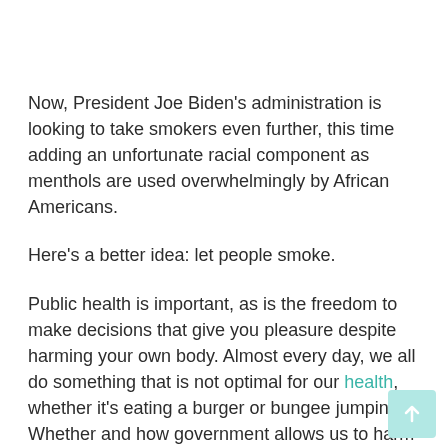Now, President Joe Biden's administration is looking to take smokers even further, this time adding an unfortunate racial component as menthols are used overwhelmingly by African Americans.
Here's a better idea: let people smoke.
Public health is important, as is the freedom to make decisions that give you pleasure despite harming your own body. Almost every day, we all do something that is not optimal for our health, whether it's eating a burger or bungee jumping. Whether and how government allows us to harm our bodies is a question ingrained as much in the classroom as in science. If you prefer harmful activities that benefit the ruling class, you're probably safe. But if your vices are despised by them, be careful.